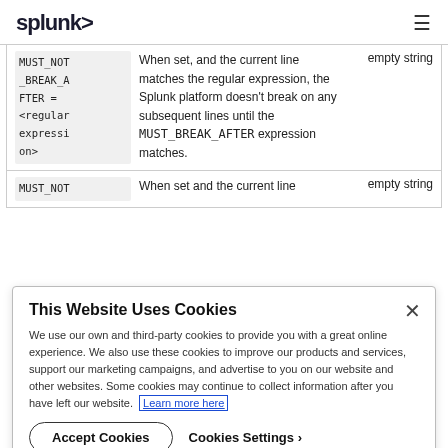splunk> [hamburger menu]
| Setting | Description | Default |
| --- | --- | --- |
| MUST_NOT_BREAK_AFTER = <regular expression> | When set, and the current line matches the regular expression, the Splunk platform doesn't break on any subsequent lines until the MUST_BREAK_AFTER expression matches. | empty string |
| MUST_NOT | When set and the current line | empty string |
This Website Uses Cookies
We use our own and third-party cookies to provide you with a great online experience. We also use these cookies to improve our products and services, support our marketing campaigns, and advertise to you on our website and other websites. Some cookies may continue to collect information after you have left our website. Learn more here
Accept Cookies   Cookies Settings ›